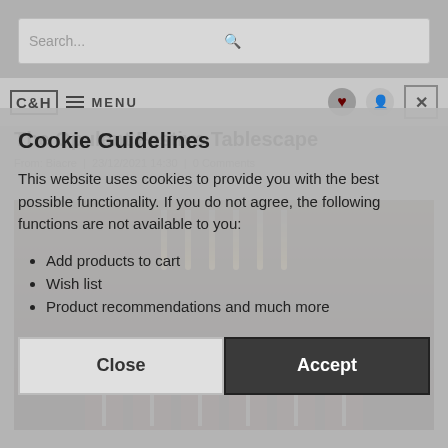Search...
C&H MENU
The Opulent Festive Tablescape
From: Biacre | 23/12/2021 14:30 | 0 Comments
Cookie Guidelines
This website uses cookies to provide you with the best possible functionality. If you do not agree, the following functions are not available to you:
Add products to cart
Wish list
Product recommendations and much more
Close   Accept
[Figure (photo): A festive dining tablescape with pendant lights and dark red chairs]